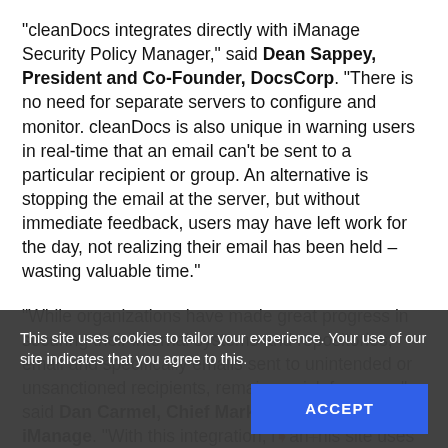“cleanDocs integrates directly with iManage Security Policy Manager,” said Dean Sappey, President and Co-Founder, DocsCorp. “There is no need for separate servers to configure and monitor. cleanDocs is also unique in warning users in real-time that an email can’t be sent to a particular recipient or group. An alternative is stopping the email at the server, but without immediate feedback, users may have left work for the day, not realizing their email has been held – wasting valuable time.”
“While organizations have made great progress in securing their internal systems and repositories, email and specifically emails sent to unintended or unsanctioned recipients, remains a risk for many,” said Dan Carmel, Chief Marketing Officer, iManage. “With this integration, iManage and DocsCorp offer customers a consistent, scalable solution to address the risks associated with human error and accidental data loss.”
The integration will be available beginning in September 2019 to cleanDocs and iManage users – both on-premises
This site uses cookies to tailor your experience. Your use of our site indicates that you agree to this.